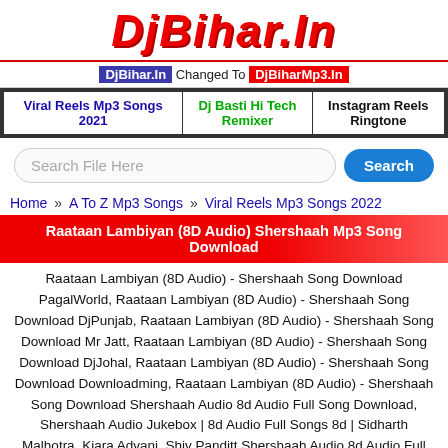DjBihar.In
DjBihar.In Changed To DjBiharMp3.In
| Viral Reels Mp3 Songs 2021 | Dj Basti Hi Tech Remixer | Instagram Reels Ringtone |
| --- | --- | --- |
Search File Here
Home » A To Z Mp3 Songs » Viral Reels Mp3 Songs 2022
Raataan Lambiyan (8D Audio) Shershaah Mp3 Song Download
Raataan Lambiyan (8D Audio) - Shershaah Song Download PagalWorld, Raataan Lambiyan (8D Audio) - Shershaah Song Download DjPunjab, Raataan Lambiyan (8D Audio) - Shershaah Song Download Mr Jatt, Raataan Lambiyan (8D Audio) - Shershaah Song Download DjJohal, Raataan Lambiyan (8D Audio) - Shershaah Song Download Downloadming, Raataan Lambiyan (8D Audio) - Shershaah Song Download Shershaah Audio 8d Audio Full Song Download, Shershaah Audio Jukebox | 8d Audio Full Songs 8d | Sidharth Malhotra, Kiara Advani, Shiv Panditt Shershaah Audio 8d Audio Full Song Download Pagalworld Shershaah Audio 8d Audio Full Song Download Mp3 Shershaah Audio 8d Audio Full Song Download Free